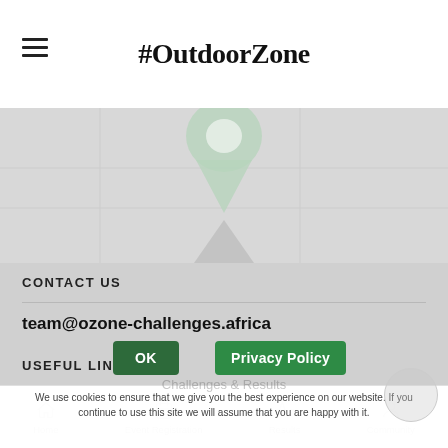#OutdoorZone
[Figure (map): Map background with location pin shape in muted green/gray tones]
CONTACT US
team@ozone-challenges.africa
USEFUL LINKS
We use cookies to ensure that we give you the best experience on our website. If you continue to use this site we will assume that you are happy with it.
Home | Event Registration | Results | Community